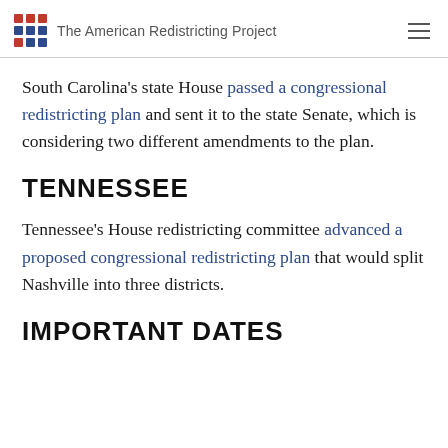The American Redistricting Project
South Carolina's state House passed a congressional redistricting plan and sent it to the state Senate, which is considering two different amendments to the plan.
TENNESSEE
Tennessee's House redistricting committee advanced a proposed congressional redistricting plan that would split Nashville into three districts.
IMPORTANT DATES